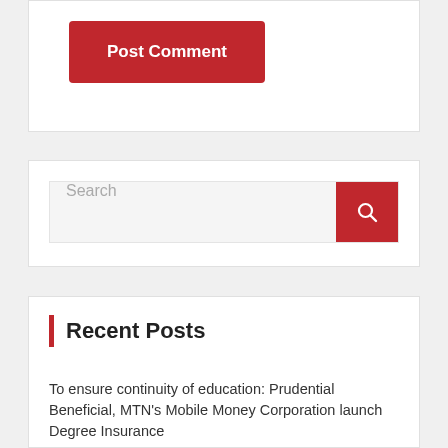[Figure (screenshot): Red 'Post Comment' button on white card background]
[Figure (screenshot): Search input field with red search button icon]
Recent Posts
To ensure continuity of education: Prudential Beneficial, MTN's Mobile Money Corporation launch Degree Insurance
The War In Ukraine: Its Economic And Social Consequences In Africa
To combat COVID-19: Prudence Foundation offers huge financial support to NGOs, hospitals